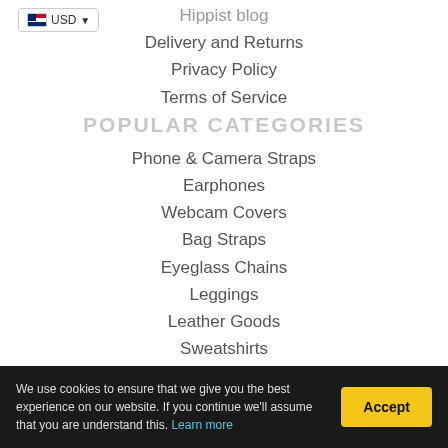USD
Hippist blog
Delivery and Returns
Privacy Policy
Terms of Service
POPULAR CATEGORIES
Phone & Camera Straps
Earphones
Webcam Covers
Bag Straps
Eyeglass Chains
Leggings
Leather Goods
Sweatshirts
POPULAR DESIGNERS
We use cookies to ensure that we give you the best experience on our website. If you continue we'll assume that you are understand this. Learn more